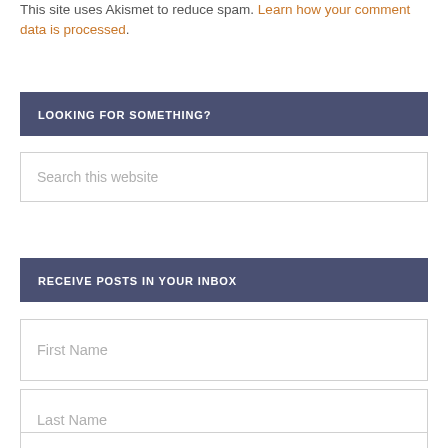This site uses Akismet to reduce spam. Learn how your comment data is processed.
LOOKING FOR SOMETHING?
[Figure (screenshot): Search input box with placeholder text 'Search this website']
RECEIVE POSTS IN YOUR INBOX
[Figure (screenshot): First Name input field]
[Figure (screenshot): Last Name input field]
[Figure (screenshot): Email input field (partially visible)]